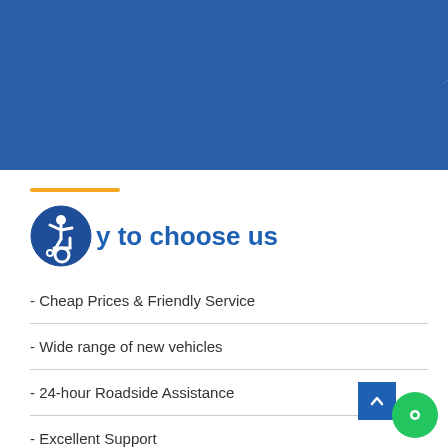[Figure (illustration): Blue decorative wave/bowtie shape at top of page]
Why to choose us
- Cheap Prices & Friendly Service
- Wide range of new vehicles
- 24-hour Roadside Assistance
- Excellent Support